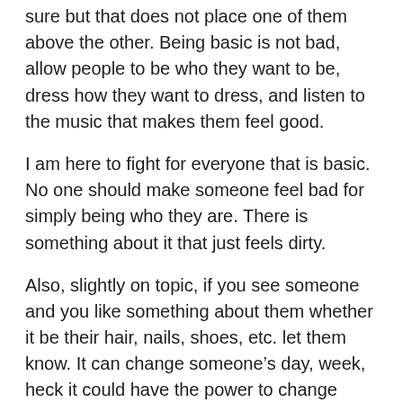sure but that does not place one of them above the other. Being basic is not bad, allow people to be who they want to be, dress how they want to dress, and listen to the music that makes them feel good.
I am here to fight for everyone that is basic. No one should make someone feel bad for simply being who they are. There is something about it that just feels dirty.
Also, slightly on topic, if you see someone and you like something about them whether it be their hair, nails, shoes, etc. let them know. It can change someone's day, week, heck it could have the power to change someone's life if you really think about it. How exciting is it that you have that ability?